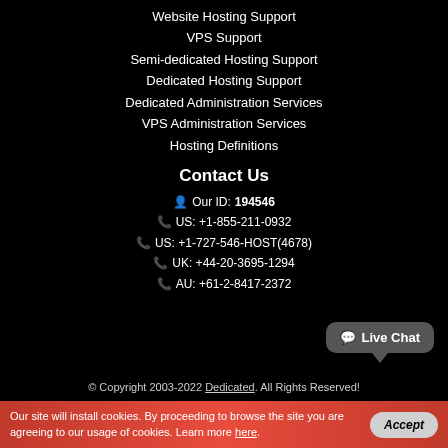Website Hosting Support
VPS Support
Semi-dedicated Hosting Support
Dedicated Hosting Support
Dedicated Administration Services
VPS Administration Services
Hosting Definitions
Contact Us
Our ID: 194546
US: +1-855-211-0932
US: +1-727-546-HOST(4678)
UK: +44-20-3695-1294
AU: +61-2-8417-2372
[Figure (other): Live Chat button bubble]
© Copyright 2003-2022 Dedicated. All Rights Reserved!
Our site will install cookies. By proceeding to browse the site you are agreeing to our usage of cookies. Learn more here.